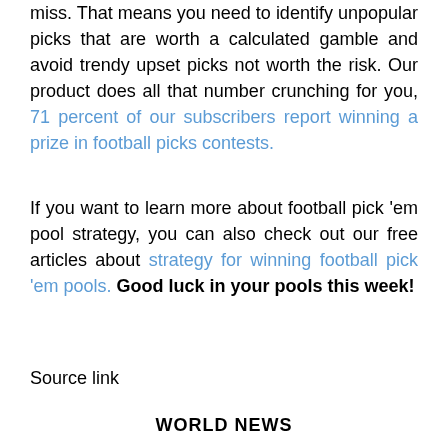miss. That means you need to identify unpopular picks that are worth a calculated gamble and avoid trendy upset picks not worth the risk. Our product does all that number crunching for you, 71 percent of our subscribers report winning a prize in football picks contests.
If you want to learn more about football pick 'em pool strategy, you can also check out our free articles about strategy for winning football pick 'em pools. Good luck in your pools this week!
Source link
WORLD NEWS